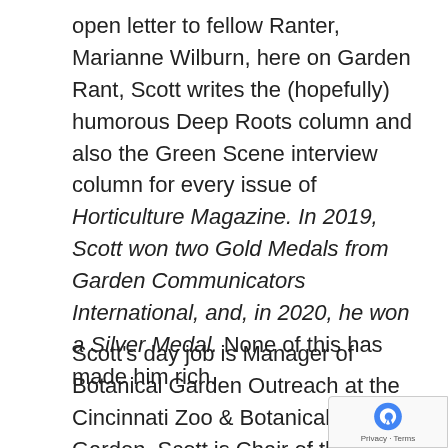open letter to fellow Ranter, Marianne Wilburn, here on Garden Rant, Scott writes the (hopefully) humorous Deep Roots column and also the Green Scene interview column for every issue of Horticulture Magazine. In 2019, Scott won two Gold Medals from Garden Communicators International, and, in 2020, he won a Silver Medal. None of this has made him rich.
Scott's day job is Manager of Botanical Garden Outreach at the Cincinnati Zoo & Botanical Garden. Scott is Chair of the Boone County Arboretum Collections Committee, past Chair of Taking Root, past President of the Cincinnati Flower Growers Association, and Past President of the Northern Kentucky Urban and Community Forestry Council